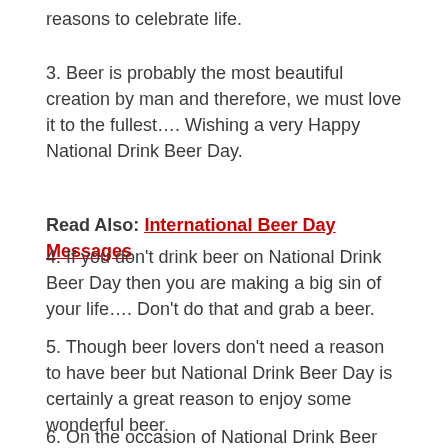reasons to celebrate life.
3. Beer is probably the most beautiful creation by man and therefore, we must love it to the fullest…. Wishing a very Happy National Drink Beer Day.
Read Also: International Beer Day Messages
4. If you don't drink beer on National Drink Beer Day then you are making a big sin of your life…. Don't do that and grab a beer.
5. Though beer lovers don't need a reason to have beer but National Drink Beer Day is certainly a great reason to enjoy some wonderful beer.
6. On the occasion of National Drink Beer Day, I am sending a pitcher of beer and a large pizza for you because I love you a